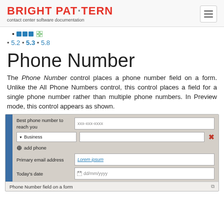BRIGHT PATTERN contact center software documentation
[ icon squares ] [ grid icon ]
• 5.2 • 5.3 • 5.8
Phone Number
The Phone Number control places a phone number field on a form. Unlike the All Phone Numbers control, this control places a field for a single phone number rather than multiple phone numbers. In Preview mode, this control appears as shown.
[Figure (screenshot): Screenshot of a form showing 'Best phone number to reach you' field with placeholder xxx-xxx-xxxx, a Business dropdown, an add phone row, Primary email address field with Lorem ipsum, and Today's date field with dd/mm/yyyy placeholder. Caption reads 'Phone Number field on a form'.]